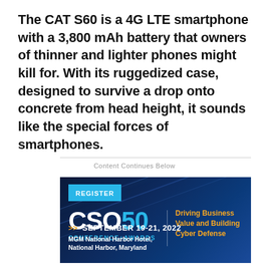The CAT S60 is a 4G LTE smartphone with a 3,800 mAh battery that owners of thinner and lighter phones might kill for. With its ruggedized case, designed to survive a drop onto concrete from head height, it sounds like the special forces of smartphones.
Content Continues Below
[Figure (other): CSO50 Conference+Awards advertisement. Dark blue gradient background with light streaks. Contains: REGISTER button in cyan, CSO50 logo with '50' in cyan, 'CONFERENCE+AWARDS' subtitle in cyan, tagline 'Driving Business Value and Building Cyber Defense' in orange, date 'SEPTEMBER 19-21, 2022' with orange arrows, venue 'MGM National Harbor Hotel, National Harbor, Maryland' in white.]